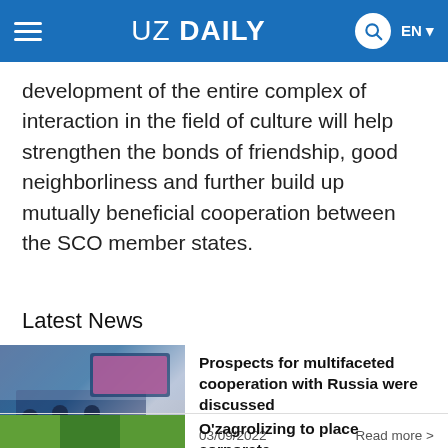UZ DAILY EN
development of the entire complex of interaction in the field of culture will help strengthen the bonds of friendship, good neighborliness and further build up mutually beneficial cooperation between the SCO member states.
Latest News
[Figure (photo): Meeting room with people seated around a round table, with a large screen in the background showing a presentation.]
Prospects for multifaceted cooperation with Russia were discussed
03/09/2022   Read more >
[Figure (photo): Aerial or field view with green landscape.]
O'zagrolizing to place corporate